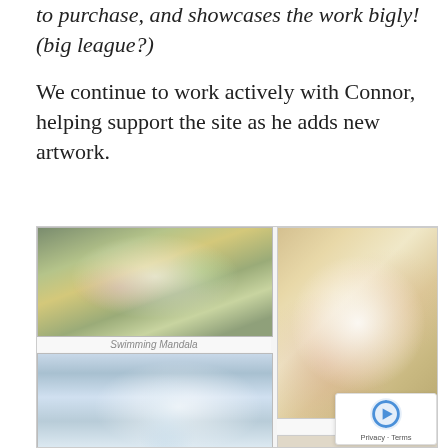to purchase, and showcases the work bigly! (big league?)
We continue to work actively with Connor, helping support the site as he adds new artwork.
[Figure (photo): Screenshot of an art portfolio website showing four artwork images in a grid layout. Top-left: colorful floral painting labeled 'Swimming Mandala'. Bottom-left: an ocean wave painting in light blue tones. Right column: large ornate floral mandala painting on golden background labeled 'Margot'. Bottom-right: partially visible abstract painting. A reCAPTCHA badge with Privacy and Terms links is overlaid in the bottom-right corner.]